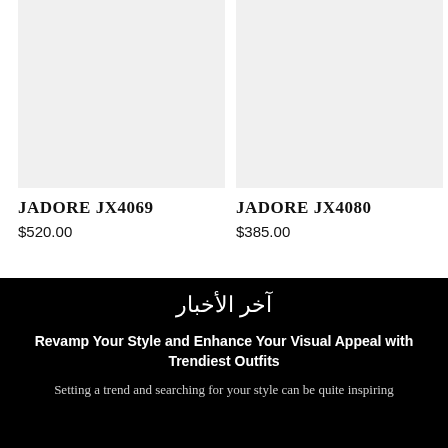[Figure (photo): Product image placeholder for JADORE JX4069, light gray rectangle]
JADORE JX4069
$520.00
[Figure (photo): Product image placeholder for JADORE JX4080, light gray rectangle]
JADORE JX4080
$385.00
آخر الأخبار
Revamp Your Style and Enhance Your Visual Appeal with Trendiest Outfits
Setting a trend and searching for your style can be quite inspiring